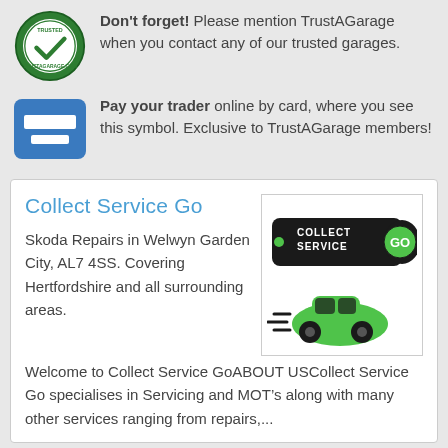Don't forget! Please mention TrustAGarage when you contact any of our trusted garages.
Pay your trader online by card, where you see this symbol. Exclusive to TrustAGarage members!
Collect Service Go
Skoda Repairs in Welwyn Garden City, AL7 4SS. Covering Hertfordshire and all surrounding areas.
[Figure (logo): Collect Service Go logo with black badge and green car illustration]
Welcome to Collect Service GoABOUT USCollect Service Go specialises in Servicing and MOTs along with many other services ranging from repairs,...